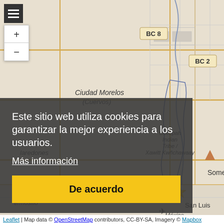[Figure (map): OpenStreetMap/Mapbox map centered on the Cocopah Indian Tribe / Xawitt Kwñchawaay area near Somerton, Arizona and Ciudad Morelos (Cuervos), Mexico. Shows road labels including BC 8, BC 2, MEX 2, SON 197, place names including Somerton, San Luis, San Luis Río Colorado, Ciudad Morelos (Cuervos), laredones, ermosillo, México. A yellow star marker is placed on the map near the Cocopah Tribe area. Map controls (hamburger menu, zoom +/-) appear in the top-left.]
Este sitio web utiliza cookies para garantizar la mejor experiencia a los usuarios.
Más información
De acuerdo
Leaflet | Map data © OpenStreetMap contributors, CC-BY-SA, Imagery © Mapbox